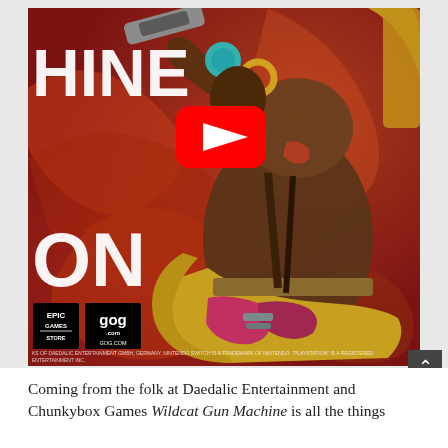[Figure (screenshot): Game promotional image for Wildcat Gun Machine showing a character wielding a large gun against an orange/red swirling background. Visible text overlays include 'HINE' and 'ON' (partial game title). A YouTube play button overlay is centered in the upper portion. Epic Games Store and GOG.com logos appear in the lower left. Fine print trademark text appears at the very bottom of the image.]
Coming from the folk at Daedalic Entertainment and Chunkybox Games Wildcat Gun Machine is all the things